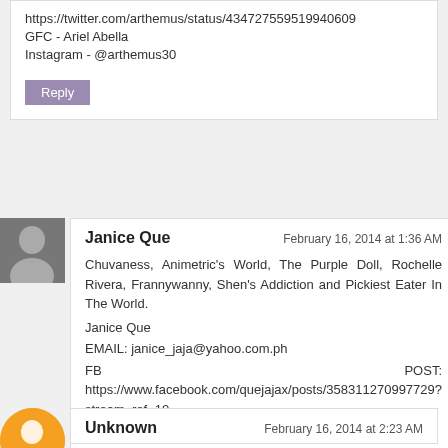https://twitter.com/arthemus/status/434727559519940609
GFC - Ariel Abella
Instagram - @arthemus30
Reply
Janice Que
February 16, 2014 at 1:36 AM
Chuvaness, Animetric's World, The Purple Doll, Rochelle Rivera, Frannywanny, Shen's Addiction and Pickiest Eater In The World.
Janice Que
EMAIL: janice_jaja@yahoo.com.ph
FB POST: https://www.facebook.com/quejajax/posts/358311270997729?stream_ref=10
TWEET: https://twitter.com/quejaja/status/434719613650087937
GFC: Janice Que
IG: @quejaja
Reply
Unknown
February 16, 2014 at 2:23 AM